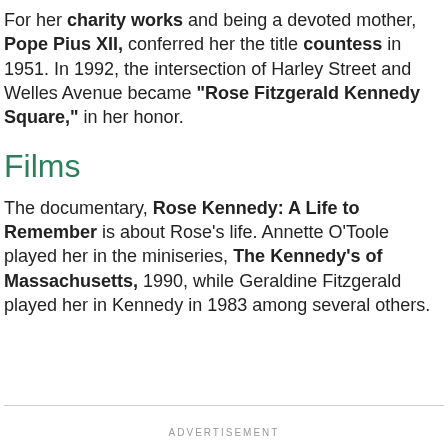For her charity works and being a devoted mother, Pope Pius XII, conferred her the title countess in 1951. In 1992, the intersection of Harley Street and Welles Avenue became "Rose Fitzgerald Kennedy Square," in her honor.
Films
The documentary, Rose Kennedy: A Life to Remember is about Rose’s life. Annette O’Toole played her in the miniseries, The Kennedy’s of Massachusetts, 1990, while Geraldine Fitzgerald played her in Kennedy in 1983 among several others.
ADVERTISEMENT